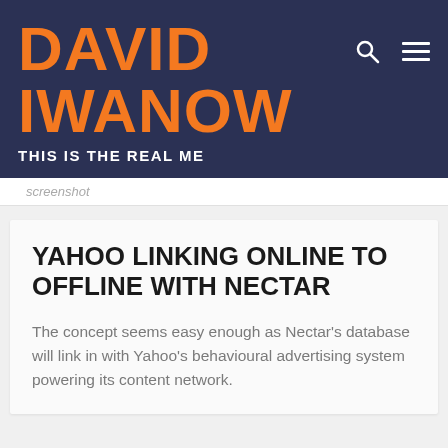DAVID IWANOW
THIS IS THE REAL ME
screenshot
YAHOO LINKING ONLINE TO OFFLINE WITH NECTAR
The concept seems easy enough as Nectar's database will link in with Yahoo's behavioural advertising system powering its content network.